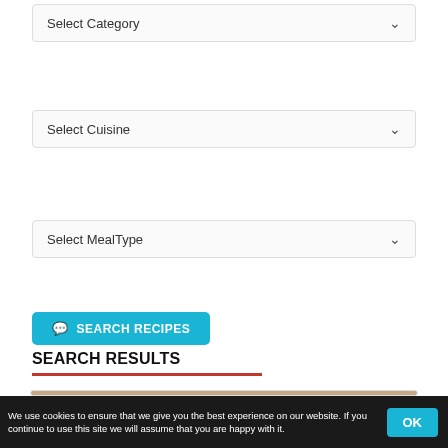Select Category
Select Cuisine
Select MealType
SEARCH RECIPES
SEARCH RESULTS
[Figure (photo): Photo of a plated dish with shrimp and sauce on a light wooden surface]
We use cookies to ensure that we give you the best experience on our website. If you continue to use this site we will assume that you are happy with it. OK